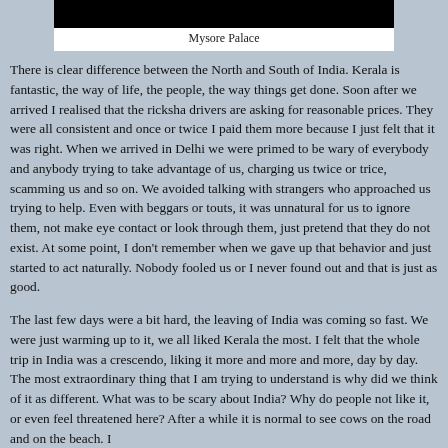[Figure (photo): Black rectangle representing Mysore Palace image (cropped/partially visible)]
Mysore Palace
There is clear difference between the North and South of India. Kerala is fantastic, the way of life, the people, the way things get done. Soon after we arrived I realised that the ricksha drivers are asking for reasonable prices. They were all consistent and once or twice I paid them more because I just felt that it was right. When we arrived in Delhi we were primed to be wary of everybody and anybody trying to take advantage of us, charging us twice or trice, scamming us and so on. We avoided talking with strangers who approached us trying to help. Even with beggars or touts, it was unnatural for us to ignore them, not make eye contact or look through them, just pretend that they do not exist. At some point, I don't remember when we gave up that behavior and just started to act naturally. Nobody fooled us or I never found out and that is just as good.
The last few days were a bit hard, the leaving of India was coming so fast. We were just warming up to it, we all liked Kerala the most. I felt that the whole trip in India was a crescendo, liking it more and more and more, day by day. The most extraordinary thing that I am trying to understand is why did we think of it as different. What was to be scary about India? Why do people not like it, or even feel threatened here? After a while it is normal to see cows on the road and on the beach. I noticed that in Kerala, there was something a little bit different. Let to...